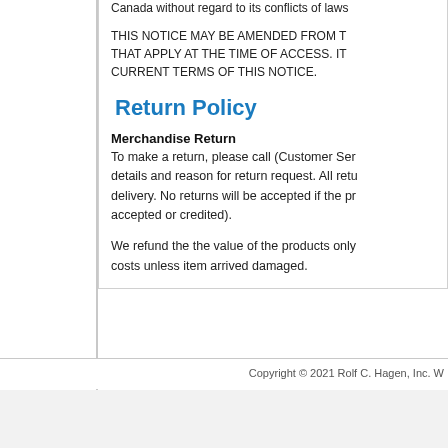Canada without regard to its conflicts of laws provisions.
THIS NOTICE MAY BE AMENDED FROM TIME TO TIME. THE TERMS THAT APPLY AT THE TIME OF ACCESS. IT IS YOUR RESPONSIBILITY TO REVIEW THE CURRENT TERMS OF THIS NOTICE.
Return Policy
Merchandise Return
To make a return, please call (Customer Service) and provide order details and reason for return request. All returns must be reported within 5 days after delivery. No returns will be accepted if the product has been used (it will not be accepted or credited).
We refund the the value of the products only. We do not refund shipping costs unless item arrived damaged.
Copyright © 2021 Rolf C. Hagen, Inc. W